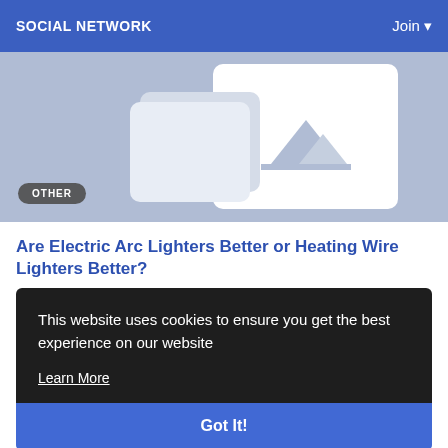SOCIAL NETWORK    Join ▾
[Figure (screenshot): Hero image placeholder with mountain icon on light blue-grey background, with 'OTHER' badge in bottom left]
Are Electric Arc Lighters Better or Heating Wire Lighters Better?
This website uses cookies to ensure you get the best experience on our website
Learn More
Got It!
[Figure (photo): Bottom strip showing a blue/purple toned image, partially visible]